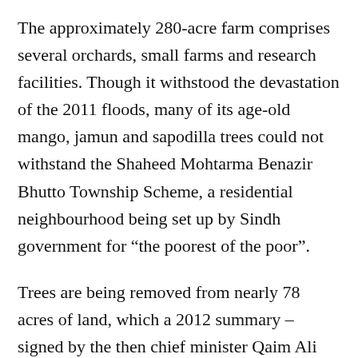The approximately 280-acre farm comprises several orchards, small farms and research facilities. Though it withstood the devastation of the 2011 floods, many of its age-old mango, jamun and sapodilla trees could not withstand the Shaheed Mohtarma Benazir Bhutto Township Scheme, a residential neighbourhood being set up by Sindh government for “the poorest of the poor”.
Trees are being removed from nearly 78 acres of land, which a 2012 summary – signed by the then chief minister Qaim Ali Shah and finance minister Murad Ali Shah – declared as “barren and unattended”. Felling of trees – being done with powerful excavators – has been